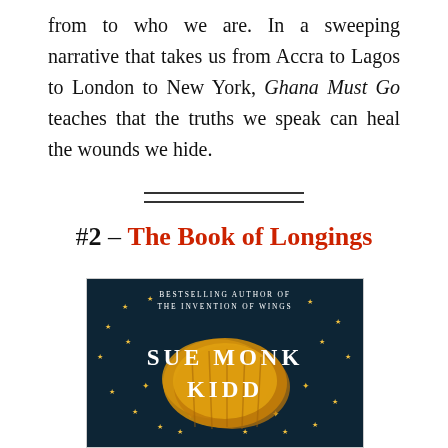from to who we are. In a sweeping narrative that takes us from Accra to Lagos to London to New York, Ghana Must Go teaches that the truths we speak can heal the wounds we hide.
#2 – The Book of Longings
[Figure (illustration): Book cover of 'The Book of Longings' by Sue Monk Kidd. Dark teal/navy background with golden paint splash in center. White text reads 'BESTSELLING AUTHOR OF THE INVENTION OF WINGS' at top and 'SUE MONK KIDD' in large letters over the golden splash. Stars scattered around.]